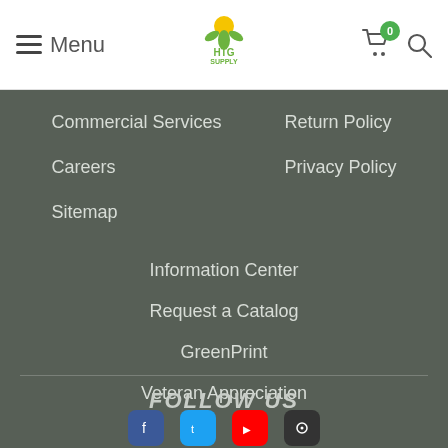Menu | HTG Supply | Cart (0) | Search
Commercial Services
Return Policy
Careers
Privacy Policy
Sitemap
Information Center
Request a Catalog
GreenPrint
Veteran Appreciation
Accessibility
FOLLOW US
+ FILTERS